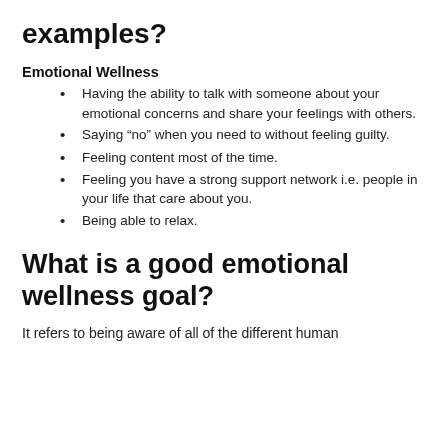examples?
Emotional Wellness
Having the ability to talk with someone about your emotional concerns and share your feelings with others.
Saying “no” when you need to without feeling guilty.
Feeling content most of the time.
Feeling you have a strong support network i.e. people in your life that care about you.
Being able to relax.
What is a good emotional wellness goal?
It refers to being aware of all of the different human